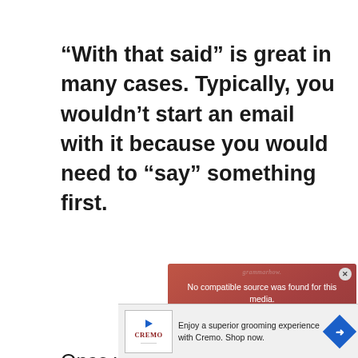“With that said” is great in many cases. Typically, you wouldn’t start an email with it because you would need to “say” something first.
[Figure (screenshot): Video player overlay showing error message 'No compatible source was found for this media.' with a close button, watermark 'grammarhow.' and promotional text 'Only 1 percent of our visitors get these 3 grammar questions right...' on a dark red/brownish gradient background with an X close icon circle in the center.]
Once y… makes… that sa… somet… that our answer is related to (or works
[Figure (screenshot): Advertisement banner for Cremo grooming products. Shows Cremo logo, text 'Enjoy a superior grooming experience with Cremo. Shop now.' and a blue diamond-shaped arrow icon.]